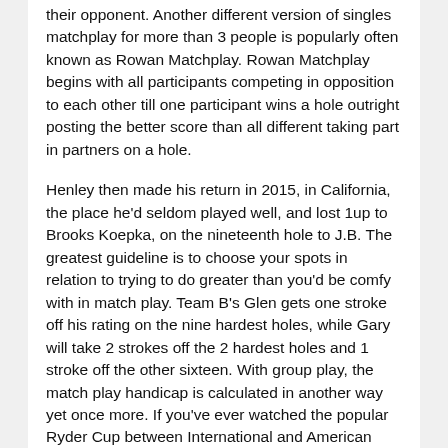their opponent. Another different version of singles matchplay for more than 3 people is popularly often known as Rowan Matchplay. Rowan Matchplay begins with all participants competing in opposition to each other till one participant wins a hole outright posting the better score than all different taking part in partners on a hole.
Henley then made his return in 2015, in California, the place he'd seldom played well, and lost 1up to Brooks Koepka, on the nineteenth hole to J.B. The greatest guideline is to choose your spots in relation to trying to do greater than you'd be comfy with in match play. Team B's Glen gets one stroke off his rating on the nine hardest holes, while Gary will take 2 strokes off the 2 hardest holes and 1 stroke off the other sixteen. With group play, the match play handicap is calculated in another way yet once more. If you've ever watched the popular Ryder Cup between International and American golfer groups you've seen match play in motion, after which perhaps you're extra in the find out about what's match play in golf than you thought.